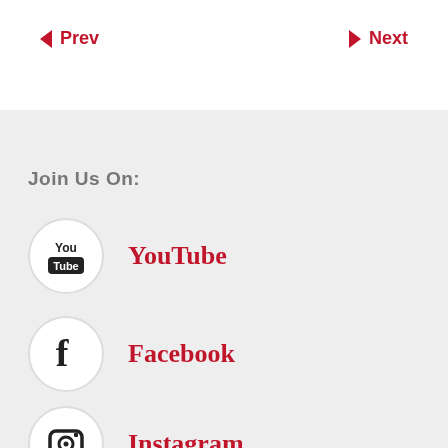Prev  Next
Join Us On:
[Figure (logo): YouTube circular logo icon]
YouTube
[Figure (logo): Facebook circular logo icon]
Facebook
[Figure (logo): Instagram circular logo icon (partially visible)]
Instagram